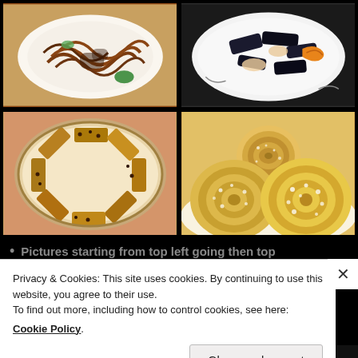[Figure (photo): Four food photos in a 2x2 grid: top-left shows a bowl of dark noodles (jajangmyeon or similar), top-right shows a plate of seafood with dark seaweed, bottom-left shows granola/oat bars with chocolate chips arranged on a round tray with parchment paper, bottom-right shows powdered sugar-dusted cinnamon rolls/buns.]
Pictures starting from top left going then top
Privacy & Cookies: This site uses cookies. By continuing to use this website, you agree to their use.
To find out more, including how to control cookies, see here:
Cookie Policy
Close and accept